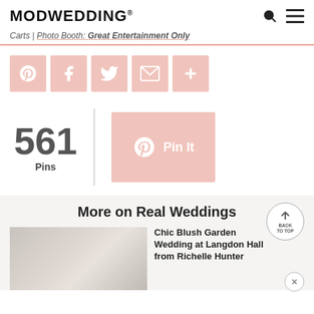MODWEDDING®
Carts | Photo Booth: Great Entertainment Only
[Figure (other): Social share buttons row: Pinterest, Facebook, Twitter, Email, More (plus icon) — all in blush pink square buttons with white icons]
561 Pins
[Figure (other): Blush pink Pin It button with Pinterest logo and 'Pin It' text in white]
More on Real Weddings
[Figure (photo): Thumbnail image for wedding article — muted gray-beige tones]
Chic Blush Garden Wedding at Langdon Hall from Richelle Hunter